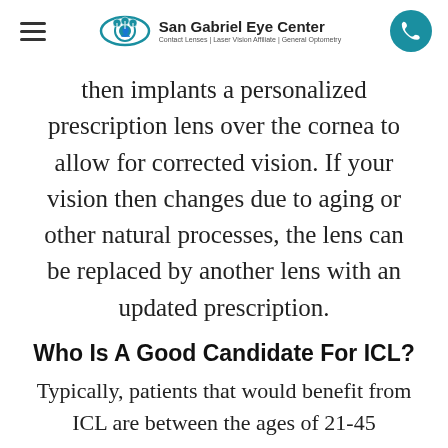San Gabriel Eye Center | Contact Lenses | Laser Vision Affiliate | General Optometry
then implants a personalized prescription lens over the cornea to allow for corrected vision. If your vision then changes due to aging or other natural processes, the lens can be replaced by another lens with an updated prescription.
Who Is A Good Candidate For ICL?
Typically, patients that would benefit from ICL are between the ages of 21-45